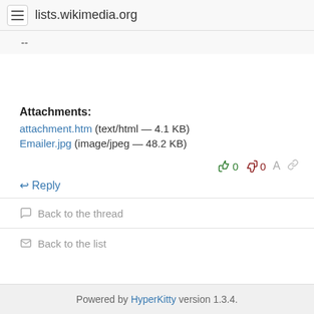lists.wikimedia.org
--
Attachments:
attachment.htm (text/html — 4.1 KB)
Emailer.jpg (image/jpeg — 48.2 KB)
0  0
↩ Reply
💬 Back to the thread
✉ Back to the list
Powered by HyperKitty version 1.3.4.